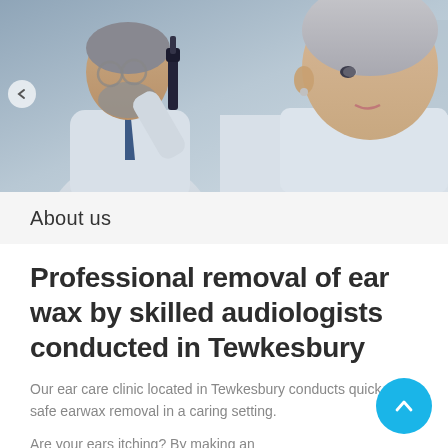[Figure (photo): A male doctor with grey beard and glasses using an otoscope to examine an elderly female patient's ear in a clinical setting.]
About us
Professional removal of ear wax by skilled audiologists conducted in Tewkesbury
Our ear care clinic located in Tewkesbury conducts quick and safe earwax removal in a caring setting.
Are your ears itching? By making an